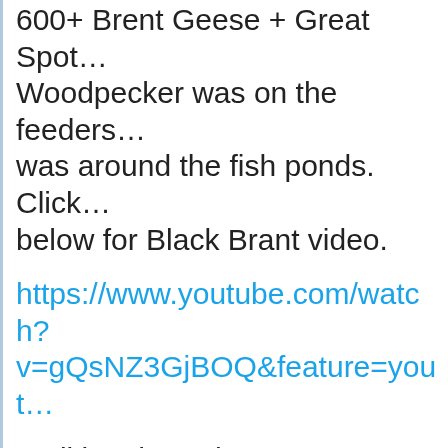600+ Brent Geese + Great Spotted Woodpecker was on the feeders was around the fish ponds. Click below for Black Brant video.
https://www.youtube.com/watch?v=gQsNZ3GjBOQ&feature=yout
Walking through Goosemoor a B on top the fencing.
Link below shows a Spotted Red in the Clyst Estuary viewed from Marsh left of the Viewing Platform going high-tide.